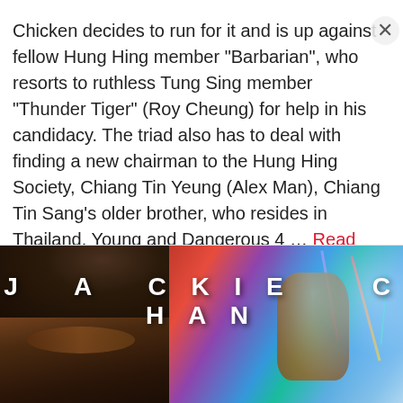Chicken decides to run for it and is up against fellow Hung Hing member "Barbarian", who resorts to ruthless Tung Sing member "Thunder Tiger" (Roy Cheung) for help in his candidacy. The triad also has to deal with finding a new chairman to the Hung Hing Society, Chiang Tin Yeung (Alex Man), Chiang Tin Sang's older brother, who resides in Thailand. Young and Dangerous 4 ... Read more
[Figure (photo): Movie poster for a Jackie Chan film showing a close-up of a face on the left with dark tones and action imagery on the right with colorful neon elements and smoke effects. Text 'JACKIE CHAN' displayed prominently in white bold letters.]